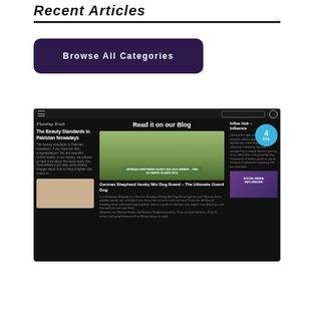Recent Articles
[Figure (screenshot): Screenshot of a blog website called 'Flaming Truth' showing a 'Read it on our Blog' section with articles including 'The Beauty Standards in Pakistan Nowadays', 'German Shepherd Husky Mix Dog Breed – The Ultimate Guard Dog', and a social media influencer article. A blue circle date badge shows '4 JUL'.]